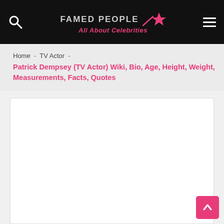FAMED PEOPLE All About Celebrities
Home - TV Actor - Patrick Dempsey (TV Actor) Wiki, Bio, Age, Height, Weight, Measurements, Facts, Quotes
[Figure (other): Large white content area placeholder]